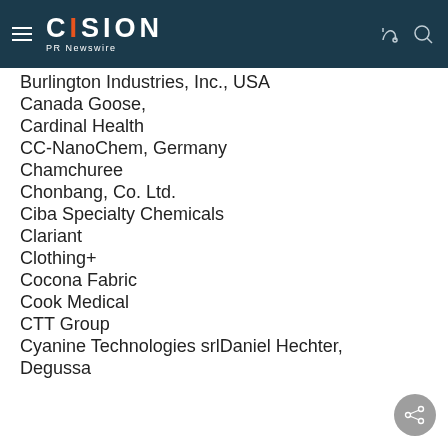CISION PR Newswire
Burlington Industries, Inc., USA
Canada Goose,
Cardinal Health
CC-NanoChem, Germany
Chamchuree
Chonbang, Co. Ltd.
Ciba Specialty Chemicals
Clariant
Clothing+
Cocona Fabric
Cook Medical
CTT Group
Cyanine Technologies srlDaniel Hechter,
Degussa